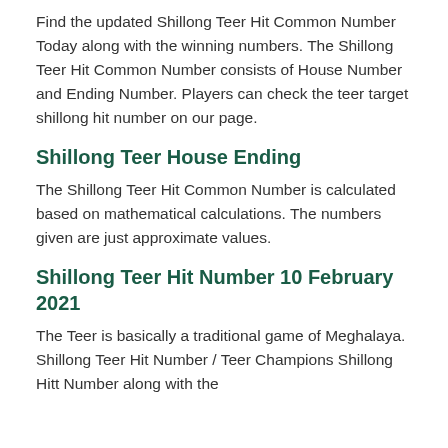Find the updated Shillong Teer Hit Common Number Today along with the winning numbers. The Shillong Teer Hit Common Number consists of House Number and Ending Number. Players can check the teer target shillong hit number on our page.
Shillong Teer House Ending
The Shillong Teer Hit Common Number is calculated based on mathematical calculations. The numbers given are just approximate values.
Shillong Teer Hit Number 10 February 2021
The Teer is basically a traditional game of Meghalaya. Shillong Teer Hit Number / Teer Champions Shillong Hitt Number along with the